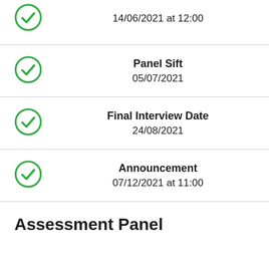14/06/2021 at 12:00
Panel Sift
05/07/2021
Final Interview Date
24/08/2021
Announcement
07/12/2021 at 11:00
Assessment Panel